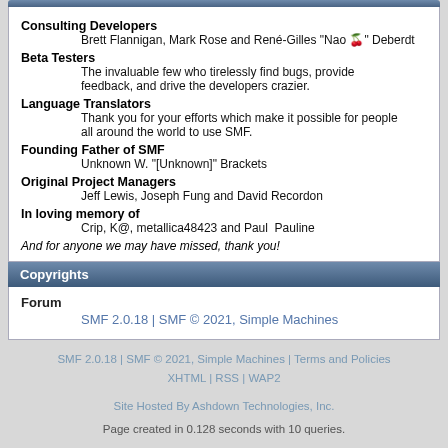Consulting Developers
            Brett Flannigan, Mark Rose and René-Gilles "Nao " Deberdt
Beta Testers
            The invaluable few who tirelessly find bugs, provide feedback, and drive the developers crazier.
Language Translators
            Thank you for your efforts which make it possible for people all around the world to use SMF.
Founding Father of SMF
            Unknown W. "[Unknown]" Brackets
Original Project Managers
            Jeff Lewis, Joseph Fung and David Recordon
In loving memory of
            Crip, K@, metallica48423 and Paul  Pauline
And for anyone we may have missed, thank you!
Copyrights
Forum
            SMF 2.0.18 | SMF © 2021, Simple Machines
SMF 2.0.18 | SMF © 2021, Simple Machines | Terms and Policies
XHTML | RSS | WAP2
Site Hosted By Ashdown Technologies, Inc.
Page created in 0.128 seconds with 10 queries.